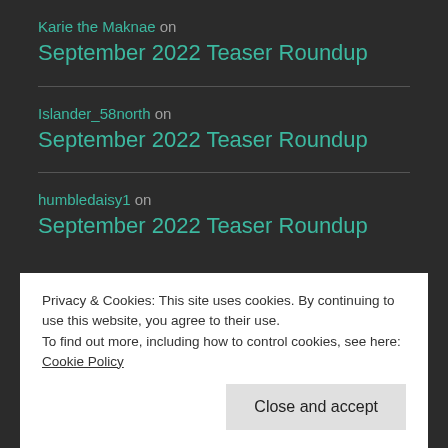Karie the Maknae on September 2022 Teaser Roundup
Islander_58north on September 2022 Teaser Roundup
humbledaisy1 on September 2022 Teaser Roundup
Privacy & Cookies: This site uses cookies. By continuing to use this website, you agree to their use.
To find out more, including how to control cookies, see here: Cookie Policy
Close and accept